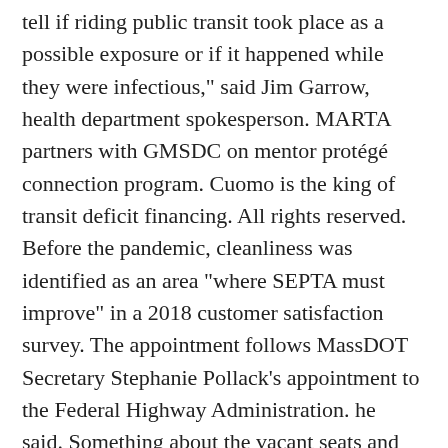tell if riding public transit took place as a possible exposure or if it happened while they were infectious," said Jim Garrow, health department spokesperson. MARTA partners with GMSDC on mentor protégé connection program. Cuomo is the king of transit deficit financing. All rights reserved. Before the pandemic, cleanliness was identified as an area "where SEPTA must improve" in a 2018 customer satisfaction survey. The appointment follows MassDOT Secretary Stephanie Pollack's appointment to the Federal Highway Administration. he said. Something about the vacant seats and eerie silence feels, well, off. About 960 SEPTA employees have contracted COVID-19, according to self-reported figures from SEPTA, and about 560 have since returned to work. SEPTA said that they are currently offering about 57 percent of pre-pandemic regional rail service, but ridership is down about 15 percent of what it